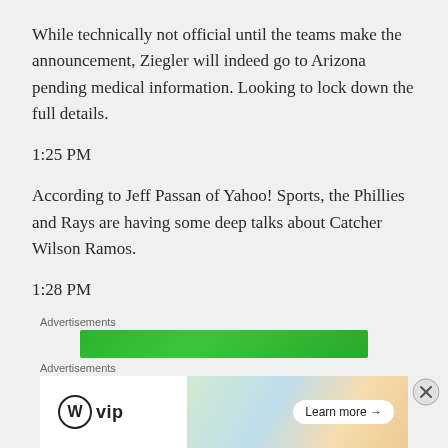While technically not official until the teams make the announcement, Ziegler will indeed go to Arizona pending medical information. Looking to lock down the full details.
1:25 PM
According to Jeff Passan of Yahoo! Sports, the Phillies and Rays are having some deep talks about Catcher Wilson Ramos.
1:28 PM
[Figure (other): Advertisement banner - green background advertisement]
[Figure (other): Advertisement banner - WordPress VIP ad with Learn more button and social media icons background]